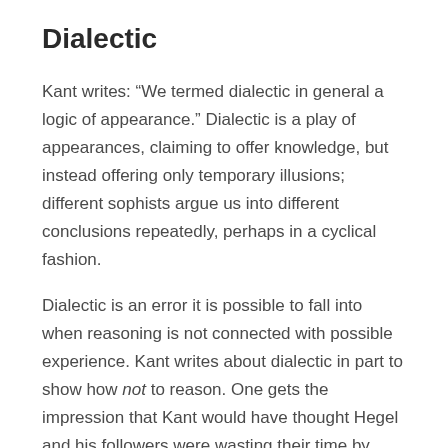Dialectic
Kant writes: “We termed dialectic in general a logic of appearance.” Dialectic is a play of appearances, claiming to offer knowledge, but instead offering only temporary illusions; different sophists argue us into different conclusions repeatedly, perhaps in a cyclical fashion.
Dialectic is an error it is possible to fall into when reasoning is not connected with possible experience. Kant writes about dialectic in part to show how not to reason. One gets the impression that Kant would have thought Hegel and his followers were wasting their time by focusing so much on dialectic.